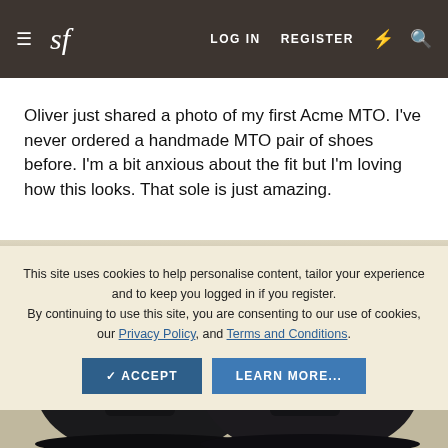sf  LOG IN  REGISTER
Oliver just shared a photo of my first Acme MTO. I've never ordered a handmade MTO pair of shoes before. I'm a bit anxious about the fit but I'm loving how this looks. That sole is just amazing.
[Figure (photo): Top-down view of a pair of shiny black Oxford dress shoes on a light beige/tan surface]
This site uses cookies to help personalise content, tailor your experience and to keep you logged in if you register.
By continuing to use this site, you are consenting to our use of cookies, our Privacy Policy, and Terms and Conditions.
✓ ACCEPT   LEARN MORE...